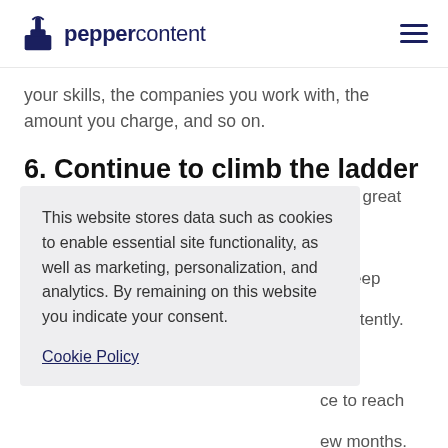peppercontent
your skills, the companies you work with, the amount you charge, and so on.
6. Continue to climb the ladder
This website stores data such as cookies to enable essential site functionality, as well as marketing, personalization, and analytics. By remaining on this website you indicate your consent.
Cookie Policy
f to a great or er, keep onsistently. ntials ce to reach ew months.